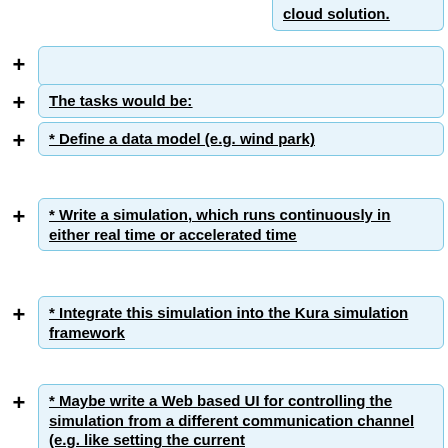cloud solution.
The tasks would be:
* Define a data model (e.g. wind park)
* Write a simulation, which runs continuously in either real time or accelerated time
* Integrate this simulation into the Kura simulation framework
* Maybe write a Web based UI for controlling the simulation from a different communication channel (e.g. like setting the current